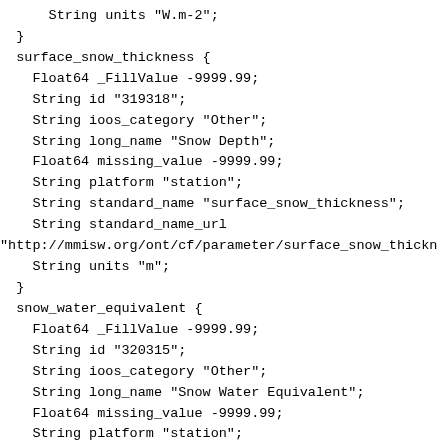String units "W.m-2";
  }
  surface_snow_thickness {
    Float64 _FillValue -9999.99;
    String id "319318";
    String ioos_category "Other";
    String long_name "Snow Depth";
    Float64 missing_value -9999.99;
    String platform "station";
    String standard_name "surface_snow_thickness";
    String standard_name_url
"http://mmisw.org/ont/cf/parameter/surface_snow_thickn
    String units "m";
  }
  snow_water_equivalent {
    Float64 _FillValue -9999.99;
    String id "320315";
    String ioos_category "Other";
    String long_name "Snow Water Equivalent";
    Float64 missing_value -9999.99;
    String platform "station";
    String standard_name "snow_water_equivalent";
    String standard_name_url
"http://mmisw.org/ont/unknown/parameter/snow_water_equ
    String units "mm";
  }